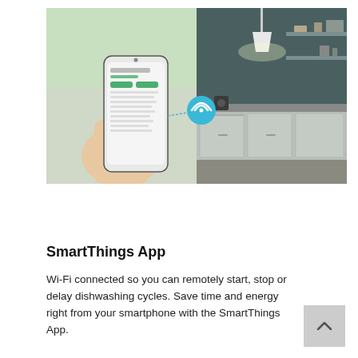[Figure (photo): Composite image showing a hand holding a smartphone with a Samsung SmartThings app interface on the left, connected via a WiFi icon to a modern kitchen with a dishwasher on the right.]
SmartThings App
Wi-Fi connected so you can remotely start, stop or delay dishwashing cycles. Save time and energy right from your smartphone with the SmartThings App.